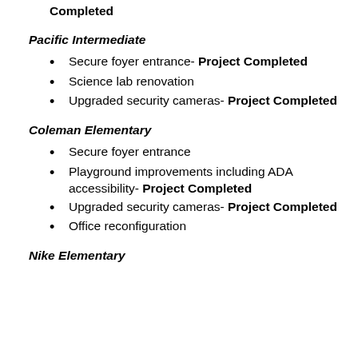Completed
Pacific Intermediate
Secure foyer entrance- Project Completed
Science lab renovation
Upgraded security cameras- Project Completed
Coleman Elementary
Secure foyer entrance
Playground improvements including ADA accessibility- Project Completed
Upgraded security cameras- Project Completed
Office reconfiguration
Nike Elementary